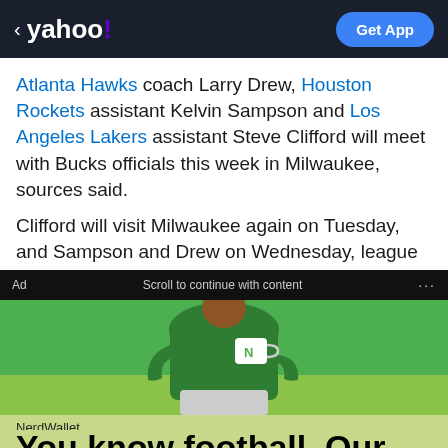< yahoo! Get App
Atlanta Hawks coach Larry Drew, Houston Rockets assistant Kelvin Sampson and Los Angeles Lakers assistant Steve Clifford will meet with Bucks officials this week in Milwaukee, sources said.

Clifford will visit Milwaukee again on Tuesday, and Sampson and Drew on Wednesday, league sources said.
Ad   Scroll to continue with content   ...
[Figure (photo): Woman in green shirt holding a white mug with NerdWallet logo, against a green background]
NerdWallet
You know football. Our Nerds know money